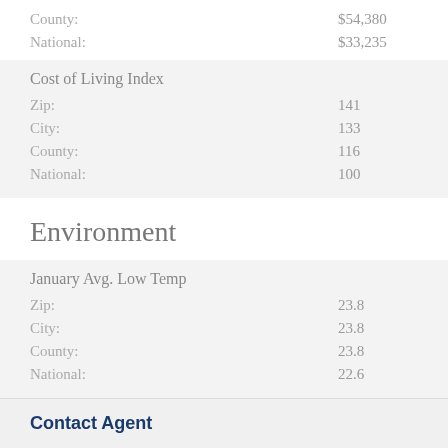|  |  |
| --- | --- |
| County: | $54,380 |
| National: | $33,235 |
| Cost of Living Index |  |
| --- | --- |
| Zip: | 141 |
| City: | 133 |
| County: | 116 |
| National: | 100 |
Environment
| January Avg. Low Temp |  |
| --- | --- |
| Zip: | 23.8 |
| City: | 23.8 |
| County: | 23.8 |
| National: | 22.6 |
| July Avg. High Temp |  |
| --- | --- |
| Zip: | 85.4 |
| City: | 85.4 |
Contact Agent